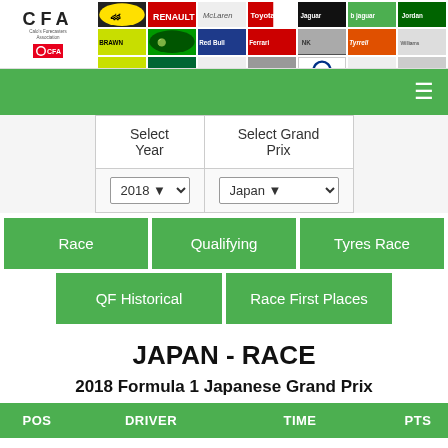[Figure (logo): CFA (Calo's Forecasters Association) F1 logo with team logos grid banner]
Navigation bar with hamburger menu
| Select Year | Select Grand Prix |
| --- | --- |
| 2018 | Japan |
Race
Qualifying
Tyres Race
QF Historical
Race First Places
JAPAN - RACE
2018 Formula 1 Japanese Grand Prix
| POS | DRIVER | TIME | PTS |
| --- | --- | --- | --- |